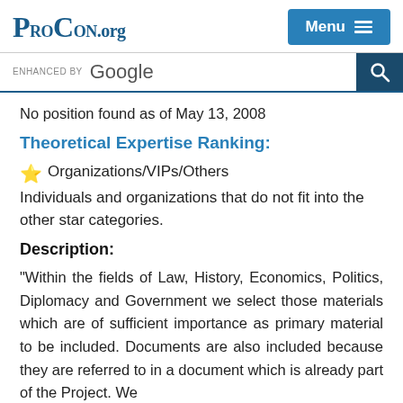ProCon.org
No position found as of May 13, 2008
Theoretical Expertise Ranking:
⭐ Organizations/VIPs/Others
Individuals and organizations that do not fit into the other star categories.
Description:
"Within the fields of Law, History, Economics, Politics, Diplomacy and Government we select those materials which are of sufficient importance as primary material to be included. Documents are also included because they are referred to in a document which is already part of the Project. We